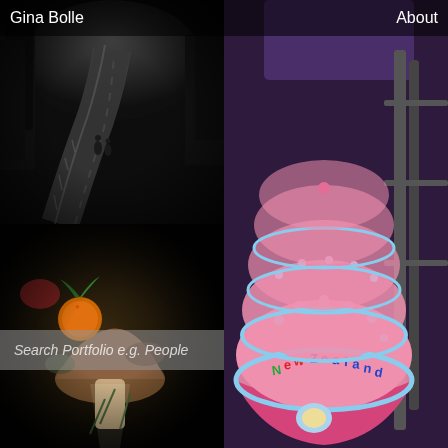Gina Bolle    About
[Figure (photo): Black and white photo of two people walking on a curved road at night or dusk, with trees and a railing visible]
[Figure (photo): Color photo of pink New Zealand souvenir baseball caps stacked on a rack, with kiwi bird emblem and 'New Zealand' text]
[Figure (photo): Dark photo of vegetables, fruits and mushrooms arranged on a dark background, with dramatic lighting]
Search Portfolio e.g. People